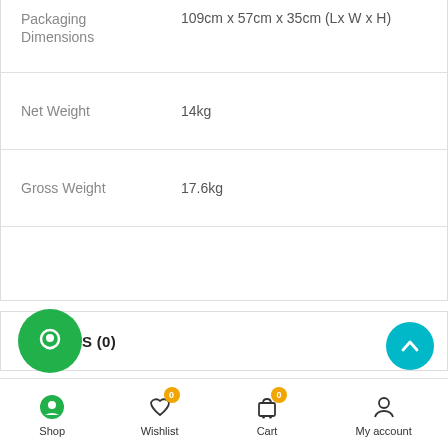| Attribute | Value |
| --- | --- |
| Packaging Dimensions | 109cm x 57cm x 35cm (Lx W x H) |
| Net Weight | 14kg |
| Gross Weight | 17.6kg |
|  |  |
REVIEWS (0)
WIZPAY
OPENPAY
[Figure (other): Green circular chat/support button at bottom left]
[Figure (other): Teal circular scroll-to-top button with upward chevron]
Shop | Wishlist (0) | Cart (0) | My account